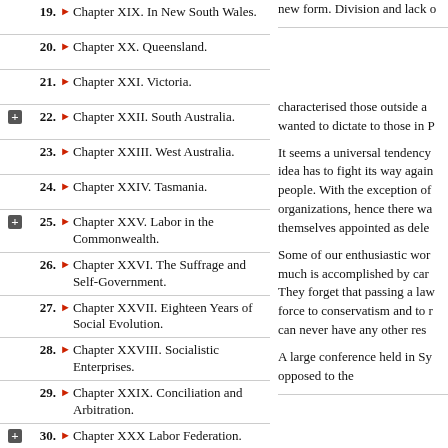19. Chapter XIX. In New South Wales.
20. Chapter XX. Queensland.
21. Chapter XXI. Victoria.
22. Chapter XXII. South Australia.
23. Chapter XXIII. West Australia.
24. Chapter XXIV. Tasmania.
25. Chapter XXV. Labor in the Commonwealth.
26. Chapter XXVI. The Suffrage and Self-Government.
27. Chapter XXVII. Eighteen Years of Social Evolution.
28. Chapter XXVIII. Socialistic Enterprises.
29. Chapter XXIX. Conciliation and Arbitration.
30. Chapter XXX Labor Federation.
31. Chapter XXXI The Eight-Hour Movement.
32. Chapter XXXII. Trade Unionism.
33. Chapter XXXIII. Trade Unionism as an Investment.
34. Chapter XXXIV.
new form. Division and lack o
characterised those outside a wanted to dictate to those in P
It seems a universal tendency idea has to fight its way again people. With the exception of organizations, hence there wa themselves appointed as dele
Some of our enthusiastic wor much is accomplished by car They forget that passing a law force to conservatism and to r can never have any other res
A large conference held in Sy opposed to the